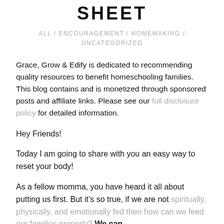SHEET
ALL / ENCOURAGEMENT / HOMEMAKING / UNCATEGORIZED
Grace, Grow & Edify is dedicated to recommending quality resources to benefit homeschooling families. This blog contains and is monetized through sponsored posts and affiliate links. Please see our full disclosure policy for detailed information.
Hey Friends!
Today I am going to share with you an easy way to reset your body!
As a fellow momma, you have heard it all about putting us first. But it’s so true, if we are not spiritually, physically, and emotionally fed then how can we feed our families properly? We can